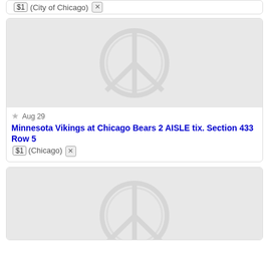$1 (City of Chicago) [x]
[Figure (illustration): Placeholder image showing a peace sign embossed in light gray]
★ Aug 29 Minnesota Vikings at Chicago Bears 2 AISLE tix. Section 433 Row 5 $1 (Chicago) [x]
[Figure (illustration): Placeholder image showing a peace sign embossed in light gray, partially visible]